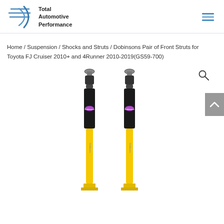[Figure (logo): Total Automotive Performance logo with stylized speed lines and text]
Home / Suspension / Shocks and Struts / Dobinsons Pair of Front Struts for Toyota FJ Cruiser 2010+ and 4Runner 2010-2019(GS59-700)
[Figure (photo): Two Dobinsons front struts with black upper body with purple oval logo and yellow lower shaft, standing upright side by side]